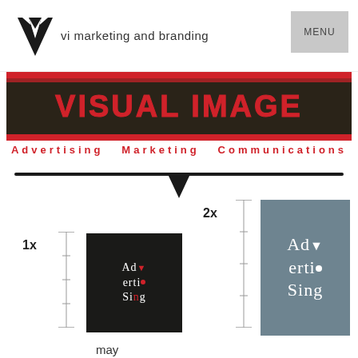[Figure (logo): VI Marketing and Branding logo: black stylized V/W shape with text 'vi marketing and branding' beside it]
[Figure (logo): MENU button - grey square with MENU text]
[Figure (logo): Visual Image logo on dark brown/black background with red text 'VISUAL IMAGE' and 'Advertising Marketing Communications']
[Figure (infographic): Arrow pointing downward indicating transformation/evolution of logo. 1x size logo (Advertising text in dark box) and 2x size logo (Advertising text in grey box) comparison. Text 'may' below.]